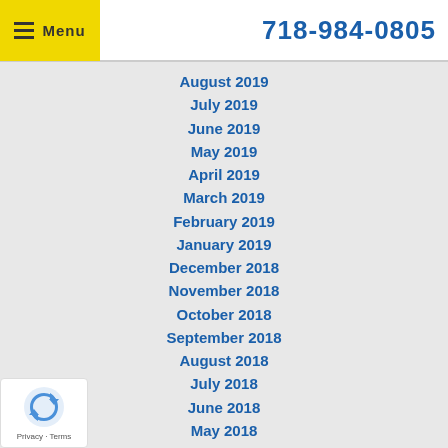☰ Menu  718-984-0805
August 2019
July 2019
June 2019
May 2019
April 2019
March 2019
February 2019
January 2019
December 2018
November 2018
October 2018
September 2018
August 2018
July 2018
June 2018
May 2018
April 2018
March 2018
February 2018